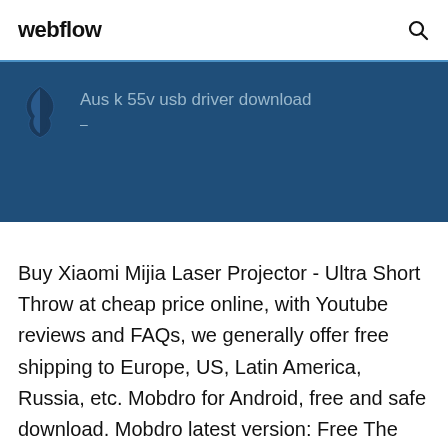webflow
[Figure (screenshot): Dark blue banner with a stylized bird/flame icon on the left and the text 'Aus k 55v usb driver download' in light blue/grey text]
Buy Xiaomi Mijia Laser Projector - Ultra Short Throw at cheap price online, with Youtube reviews and FAQs, we generally offer free shipping to Europe, US, Latin America, Russia, etc. Mobdro for Android, free and safe download. Mobdro latest version: Free The app also comes with a channel listing for live TV streaming. Mobdro constantly